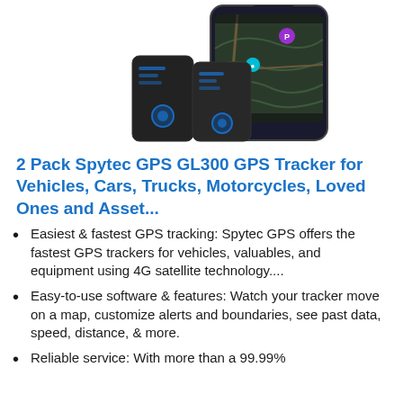[Figure (photo): Two Spytec GPS GL300 GPS tracker devices (small black rectangular devices with blue indicator lights) displayed next to a smartphone showing a GPS tracking map application with location pins.]
2 Pack Spytec GPS GL300 GPS Tracker for Vehicles, Cars, Trucks, Motorcycles, Loved Ones and Asset...
Easiest & fastest GPS tracking: Spytec GPS offers the fastest GPS trackers for vehicles, valuables, and equipment using 4G satellite technology....
Easy-to-use software & features: Watch your tracker move on a map, customize alerts and boundaries, see past data, speed, distance, & more.
Reliable service: With more than a 99.99%